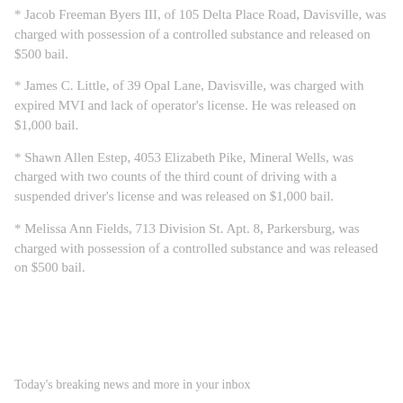* Jacob Freeman Byers III, of 105 Delta Place Road, Davisville, was charged with possession of a controlled substance and released on $500 bail.
* James C. Little, of 39 Opal Lane, Davisville, was charged with expired MVI and lack of operator's license. He was released on $1,000 bail.
* Shawn Allen Estep, 4053 Elizabeth Pike, Mineral Wells, was charged with two counts of the third count of driving with a suspended driver's license and was released on $1,000 bail.
* Melissa Ann Fields, 713 Division St. Apt. 8, Parkersburg, was charged with possession of a controlled substance and was released on $500 bail.
Today's breaking news and more in your inbox